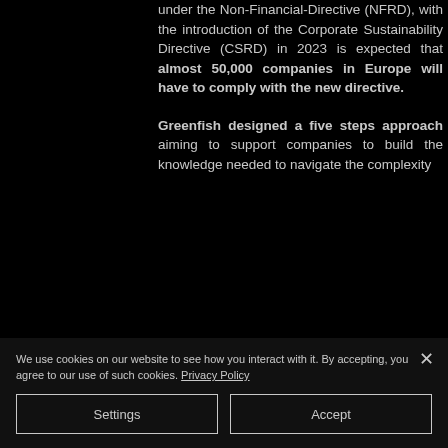under the Non-Financial-Directive (NFRD), with the introduction of the Corporate Sustainability Directive (CSRD) in 2023 is expected that almost 50,000 companies in Europe will have to comply with the new directive.
Greenfish designed a five steps approach aiming to support companies to build the knowledge needed to navigate the complexity
We use cookies on our website to see how you interact with it. By accepting, you agree to our use of such cookies. Privacy Policy